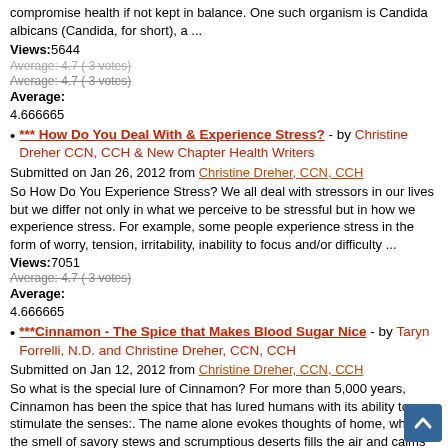compromise health if not kept in balance. One such organism is Candida albicans (Candida, for short), a ...
Views:5644
Average: 4.7 ( 3 votes)
Average:
4.666665
*** How Do You Deal With & Experience Stress? - by Christine Dreher CCN, CCH & New Chapter Health Writers
Submitted on Jan 26, 2012 from Christine Dreher, CCN, CCH
So How Do You Experience Stress? We all deal with stressors in our lives but we differ not only in what we perceive to be stressful but in how we experience stress. For example, some people experience stress in the form of worry, tension, irritability, inability to focus and/or difficulty ...
Views:7051
Average: 4.7 ( 3 votes)
Average:
4.666665
***Cinnamon - The Spice that Makes Blood Sugar Nice - by Taryn Forrelli, N.D. and Christine Dreher, CCN, CCH
Submitted on Jan 12, 2012 from Christine Dreher, CCN, CCH
So what is the special lure of Cinnamon? For more than 5,000 years, Cinnamon has been the spice that has lured humans with its ability to stimulate the senses:. The name alone evokes thoughts of home, where the smell of savory stews and scrumptious deserts fills the air and calms the mind. ...
Views:8035
Average: 4.8 ( 5 votes)
Average:
4.8
*** Seeking Immune System Balance - by Joran Rubin N.D.